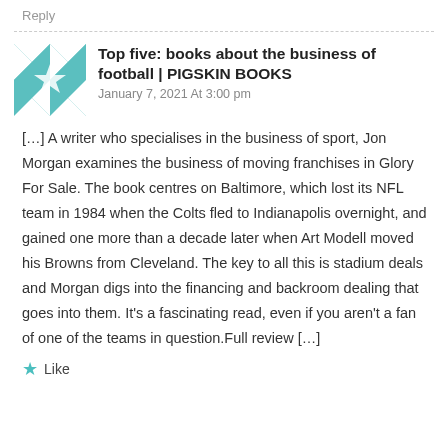Reply
Top five: books about the business of football | PIGSKIN BOOKS
January 7, 2021 At 3:00 pm
[…] A writer who specialises in the business of sport, Jon Morgan examines the business of moving franchises in Glory For Sale. The book centres on Baltimore, which lost its NFL team in 1984 when the Colts fled to Indianapolis overnight, and gained one more than a decade later when Art Modell moved his Browns from Cleveland. The key to all this is stadium deals and Morgan digs into the financing and backroom dealing that goes into them. It's a fascinating read, even if you aren't a fan of one of the teams in question.Full review […]
Like